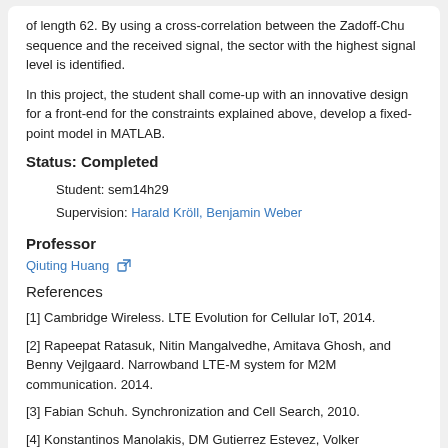of length 62. By using a cross-correlation between the Zadoff-Chu sequence and the received signal, the sector with the highest signal level is identified.
In this project, the student shall come-up with an innovative design for a front-end for the constraints explained above, develop a fixed-point model in MATLAB.
Status: Completed
Student: sem14h29
Supervision: Harald Kröll, Benjamin Weber
Professor
Qiuting Huang
References
[1] Cambridge Wireless. LTE Evolution for Cellular IoT, 2014.
[2] Rapeepat Ratasuk, Nitin Mangalvedhe, Amitava Ghosh, and Benny Vejlgaard. Narrowband LTE-M system for M2M communication. 2014.
[3] Fabian Schuh. Synchronization and Cell Search, 2010.
[4] Konstantinos Manolakis, DM Gutierrez Estevez, Volker Jungnickel, Wen Xu, and Christian Drewes. A closed concept for synchronization and cell search in 3GPP LTE systems. In Wireless Communications and Networking Conference, 2009. WCNC 2009. IEEE, pages 1–6. IEEE, 2009.